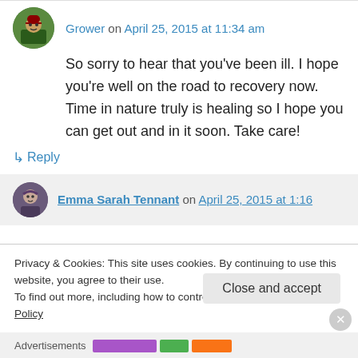Grower on April 25, 2015 at 11:34 am
So sorry to hear that you've been ill. I hope you're well on the road to recovery now. Time in nature truly is healing so I hope you can get out and in it soon. Take care!
↳ Reply
Emma Sarah Tennant on April 25, 2015 at 1:16
Privacy & Cookies: This site uses cookies. By continuing to use this website, you agree to their use.
To find out more, including how to control cookies, see here: Cookie Policy
Close and accept
Advertisements